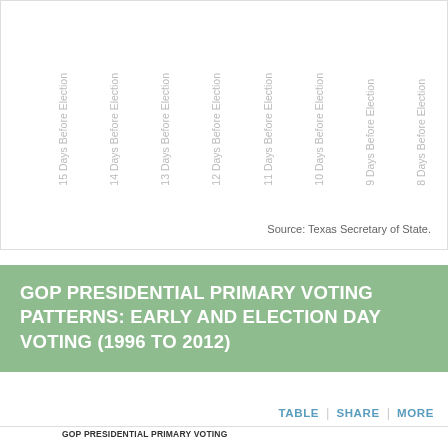[Figure (bar-chart): Partial view of a bar chart showing days before election on x-axis (labels: 15 Days Before Election through 8 Days Before Election shown at top as rotated axis labels). Source: Texas Secretary of State.]
Source: Texas Secretary of State.
GOP PRESIDENTIAL PRIMARY VOTING PATTERNS: EARLY AND ELECTION DAY VOTING (1996 TO 2012)
TABLE | SHARE | MORE
[Figure (bar-chart): Bar chart with y-axis labels 750k, 1,000k, 1,250k visible. Orange bars shown partially at bottom of page.]